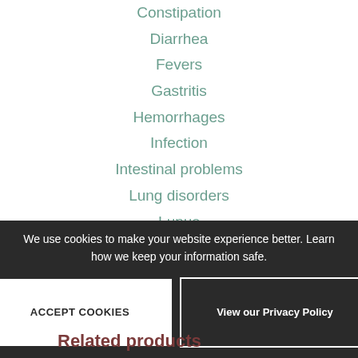Constipation
Diarrhea
Fevers
Gastritis
Hemorrhages
Infection
Intestinal problems
Lung disorders
Lupus
Nephritis
Psoriasis
Skin disorders
Ulcers
Urinary problems
Venereal disease
We use cookies to make your website experience better. Learn how we keep your information safe.
ACCEPT COOKIES
View our Privacy Policy
Related products